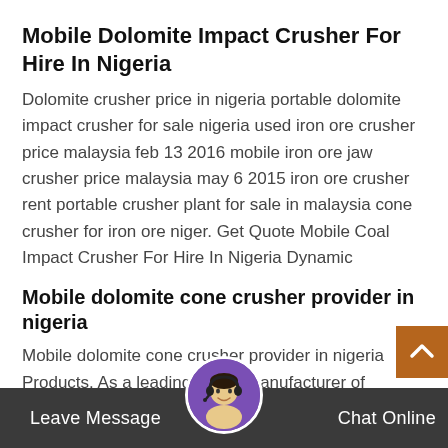Mobile Dolomite Impact Crusher For Hire In Nigeria
Dolomite crusher price in nigeria portable dolomite impact crusher for sale nigeria used iron ore crusher price malaysia feb 13 2016 mobile iron ore jaw crusher price malaysia may 6 2015 iron ore crusher rent portable crusher plant for sale in malaysia cone crusher for iron ore niger. Get Quote Mobile Coal Impact Crusher For Hire In Nigeria Dynamic
Mobile dolomite cone crusher provider in nigeria
Mobile dolomite cone crusher provider in nigeria Products. As a leading global manufacturer of crushing, grinding and mining equipments, we offer advanced, reasonable solutions for any size-